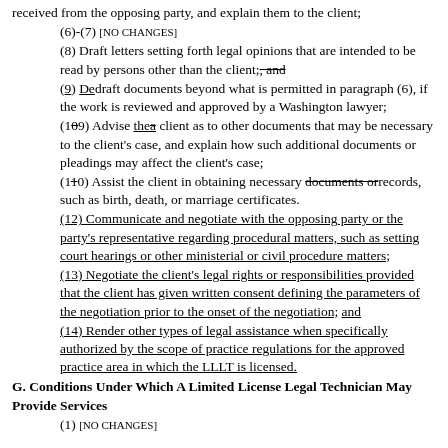received from the opposing party, and explain them to the client;
(6)-(7) [NO CHANGES]
(8) Draft letters setting forth legal opinions that are intended to be read by persons other than the client;, and
(9) Dedraft documents beyond what is permitted in paragraph (6), if the work is reviewed and approved by a Washington lawyer;
(109) Advise thea client as to other documents that may be necessary to the client's case, and explain how such additional documents or pleadings may affect the client's case;
(110) Assist the client in obtaining necessary documents orrecords, such as birth, death, or marriage certificates.
(12) Communicate and negotiate with the opposing party or the party's representative regarding procedural matters, such as setting court hearings or other ministerial or civil procedure matters;
(13) Negotiate the client's legal rights or responsibilities provided that the client has given written consent defining the parameters of the negotiation prior to the onset of the negotiation; and
(14) Render other types of legal assistance when specifically authorized by the scope of practice regulations for the approved practice area in which the LLLT is licensed.
G. Conditions Under Which A Limited License Legal Technician May Provide Services
(1) [NO CHANGES]